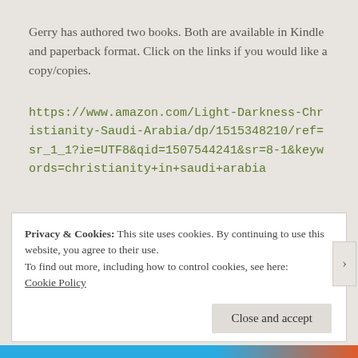Gerry has authored two books. Both are available in Kindle and paperback format. Click on the links if you would like a copy/copies.
https://www.amazon.com/Light-Darkness-Christianity-Saudi-Arabia/dp/1515348210/ref=sr_1_1?ie=UTF8&qid=1507544241&sr=8-1&keywords=christianity+in+saudi+arabia
Privacy & Cookies: This site uses cookies. By continuing to use this website, you agree to their use.
To find out more, including how to control cookies, see here:
Cookie Policy